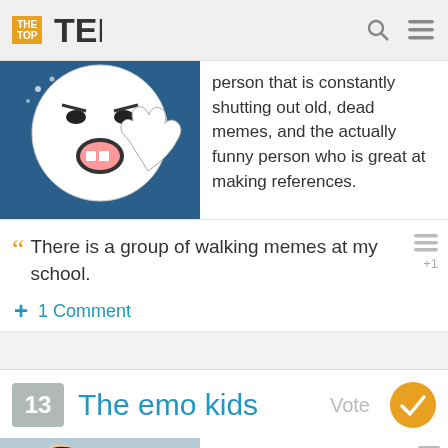THE TOP TENS
person that is constantly shutting out old, dead memes, and the actually funny person who is great at making references.
There is a group of walking memes at my school.
1 Comment
13 The emo kids
Everyone always asks if I had my emo phase in middle